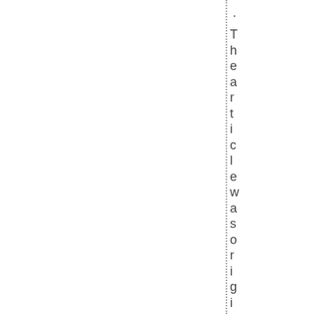. The article was originally publ